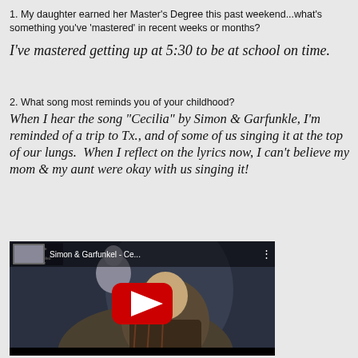1. My daughter earned her Master's Degree this past weekend...what's something you've 'mastered' in recent weeks or months?
I've mastered getting up at 5:30 to be at school on time.
2. What song most reminds you of your childhood?
When I hear the song "Cecilia" by Simon & Garfunkle, I'm reminded of a trip to Tx., and of some of us singing it at the top of our lungs.  When I reflect on the lyrics now, I can't believe my mom & my aunt were okay with us singing it!
[Figure (screenshot): YouTube video thumbnail for Simon & Garfunkel - Ce... showing a man in a plaid jacket with album art 'Bridge Over Troubled Water' visible, red play button in center]